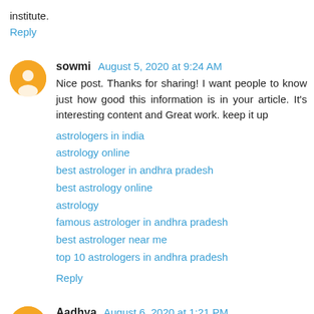institute.
Reply
sowmi  August 5, 2020 at 9:24 AM
Nice post. Thanks for sharing! I want people to know just how good this information is in your article. It's interesting content and Great work. keep it up
astrologers in india
astrology online
best astrologer in andhra pradesh
best astrology online
astrology
famous astrologer in andhra pradesh
best astrologer near me
top 10 astrologers in andhra pradesh
Reply
Aadhya  August 6, 2020 at 1:21 PM
Myself so glad to establish your blog entry since it's actually